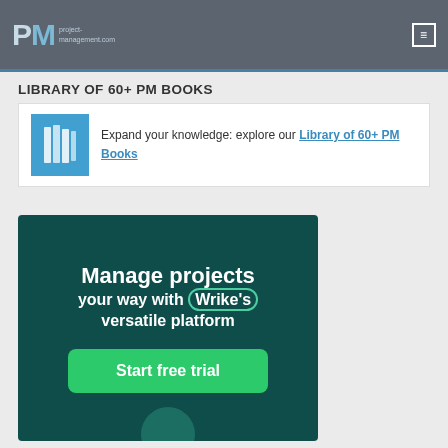PM project-management.com
LIBRARY OF 60+ PM BOOKS
Expand your knowledge: explore our Library of 60+ PM Books
[Figure (infographic): Wrike advertisement banner: 'Manage projects your way with Wrike's versatile platform' with a green 'Start free trial' button on a dark teal background]